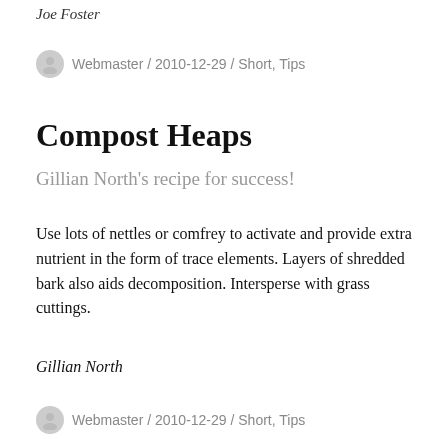Joe Foster
Webmaster / 2010-12-29 / Short, Tips
Compost Heaps
Gillian North's recipe for success!
Use lots of nettles or comfrey to activate and provide extra nutrient in the form of trace elements. Layers of shredded bark also aids decomposition. Intersperse with grass cuttings.
Gillian North
Webmaster / 2010-12-29 / Short, Tips